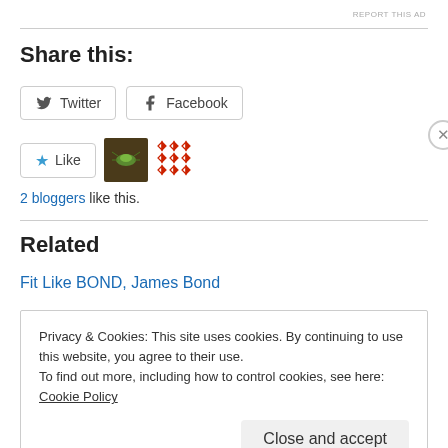REPORT THIS AD
Share this:
[Figure (other): Twitter and Facebook social share buttons]
[Figure (other): Like button with star icon, two blogger avatar thumbnails]
2 bloggers like this.
Related
Fit Like BOND, James Bond
Privacy & Cookies: This site uses cookies. By continuing to use this website, you agree to their use.
To find out more, including how to control cookies, see here: Cookie Policy
Close and accept